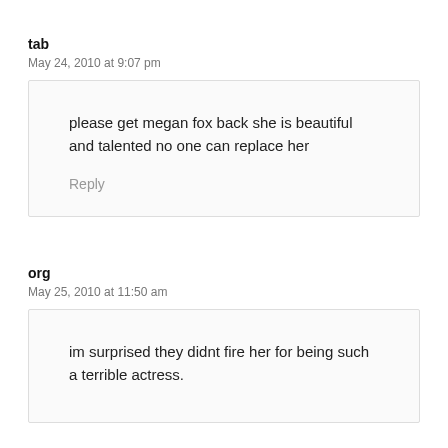tab
May 24, 2010 at 9:07 pm
please get megan fox back she is beautiful and talented no one can replace her
Reply
org
May 25, 2010 at 11:50 am
im surprised they didnt fire her for being such a terrible actress.